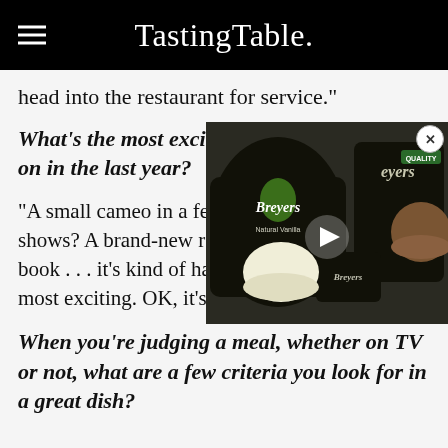TastingTable.
head into the restaurant for service."
What's the most exciting on in the last year?
[Figure (photo): Breyers ice cream advertisement showing multiple containers of Breyers Natural Vanilla and other flavors with a play button overlay]
"A small cameo in a feature film? Two new TV shows? A brand-new restaurant and a new book . . . it's kind of hard to say which is the most exciting. OK, it's the feature film."
When you're judging a meal, whether on TV or not, what are a few criteria you look for in a great dish?